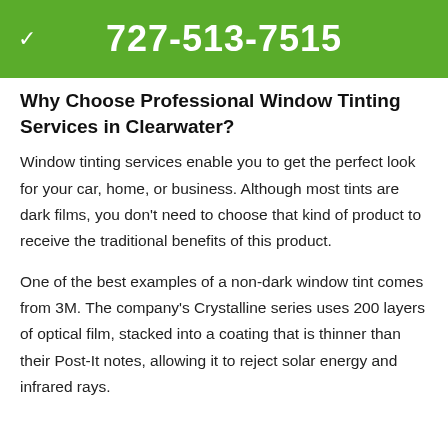727-513-7515
Why Choose Professional Window Tinting Services in Clearwater?
Window tinting services enable you to get the perfect look for your car, home, or business. Although most tints are dark films, you don't need to choose that kind of product to receive the traditional benefits of this product.
One of the best examples of a non-dark window tint comes from 3M. The company's Crystalline series uses 200 layers of optical film, stacked into a coating that is thinner than their Post-It notes, allowing it to reject solar energy and infrared rays.